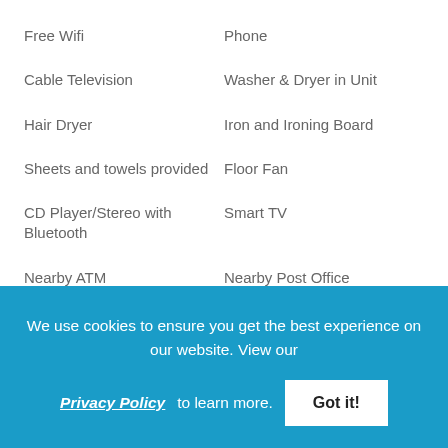Free Wifi
Phone
Cable Television
Washer & Dryer in Unit
Hair Dryer
Iron and Ironing Board
Sheets and towels provided
Floor Fan
CD Player/Stereo with Bluetooth
Smart TV
Nearby ATM
Nearby Post Office
Nearby Internet Cafe
Nearby Bank
Post Office
Yoga
We use cookies to ensure you get the best experience on our website. View our Privacy Policy to learn more. Got it!